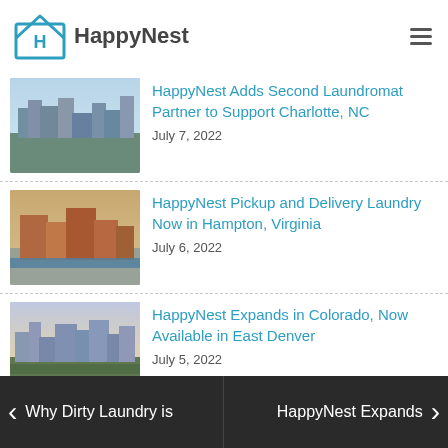HappyNest
HappyNest Adds Second Laundromat Partner to Support Charlotte, NC
July 7, 2022
HappyNest Pickup and Delivery Laundry Now in Hampton, Virginia
July 6, 2022
HappyNest Expands in Colorado, Now Available in East Denver
July 5, 2022
Why Dirty Laundry is
HappyNest Expands